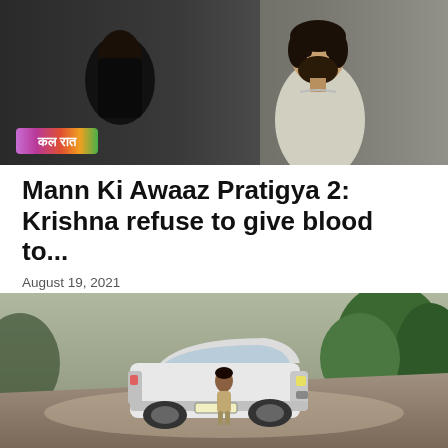[Figure (screenshot): TV drama still showing a man with beard in grey kurta facing a woman from behind, with a colorful overlay badge reading कल रात in Hindi (meaning 'last night' or 'tomorrow night')]
Mann Ki Awaaz Pratigya 2: Krishna refuse to give blood to...
August 19, 2021
Mann Ki Awaaz Pratigya 2 Spoilers, Upcoming Story, Latest Gossip , Future Story, Latest News and Upcoming Twist on tellyexpress.com In viewers favorite show Mann...
[Figure (screenshot): TV drama outdoor scene showing a white car on a dusty road with a person (child) standing near the front of the car, with green trees in the background]